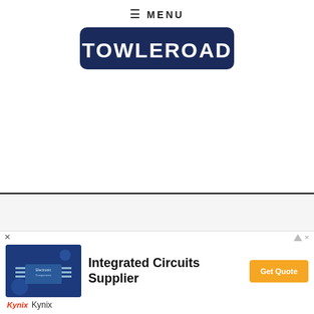≡ MENU
[Figure (logo): Towleroad logo — white bold text on dark navy rounded rectangle background]
[Figure (other): Advertisement / empty white space area above horizontal rule]
[Figure (other): Advertisement / empty light gray space area below horizontal rule]
[Figure (other): Bottom banner ad: Integrated Circuits Supplier by Kynix with chip image and Get Quote button]